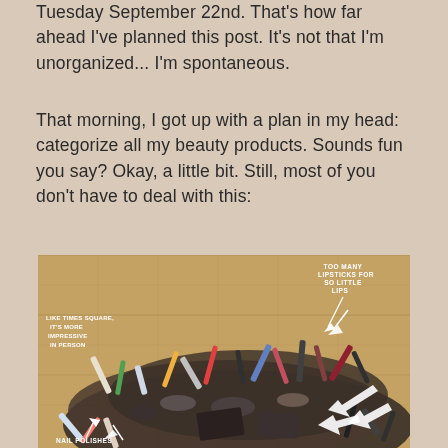Tuesday September 22nd. That's how far ahead I've planned this post. It's not that I'm unorganized... I'm spontaneous.
That morning, I got up with a plan in my head: categorize all my beauty products. Sounds fun you say? Okay, a little bit. Still, most of you don't have to deal with this:
[Figure (photo): A large pile of makeup and beauty products spread out on a hardwood floor, with handwritten-style white annotations: 'LIKE TIMES SQUARE, IT'S MORE IMPRESSIVE IN PERSON' on the left, 'TOO MANY LIPSTICKS FOR SO LITTLE LIPS' on the upper right with an arrow, and 'NAIL POLISHES' at the bottom left with an arrow, plus additional arrows pointing to various items.]